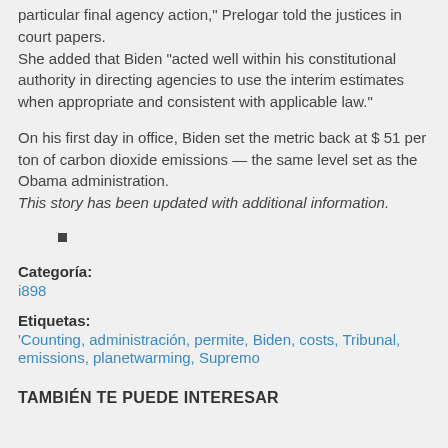particular final agency action," Prelogar told the justices in court papers.
She added that Biden "acted well within his constitutional authority in directing agencies to use the interim estimates when appropriate and consistent with applicable law."
On his first day in office, Biden set the metric back at $ 51 per ton of carbon dioxide emissions — the same level set as the Obama administration.
This story has been updated with additional information.
■
Categoría: i898
Etiquetas: 'Counting, administración, permite, Biden, costs, Tribunal, emissions, planetwarming, Supremo
TAMBIÉN TE PUEDE INTERESAR